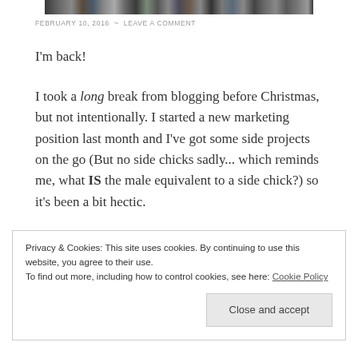[Figure (photo): A horizontal strip of photos at the top of the page showing various people]
FEBRUARY 10, 2016 ~ LEAVE A COMMENT
I'm back!
I took a long break from blogging before Christmas, but not intentionally. I started a new marketing position last month and I've got some side projects on the go (But no side chicks sadly... which reminds me, what IS the male equivalent to a side chick?) so it's been a bit hectic.
Privacy & Cookies: This site uses cookies. By continuing to use this website, you agree to their use.
To find out more, including how to control cookies, see here: Cookie Policy
[Close and accept]